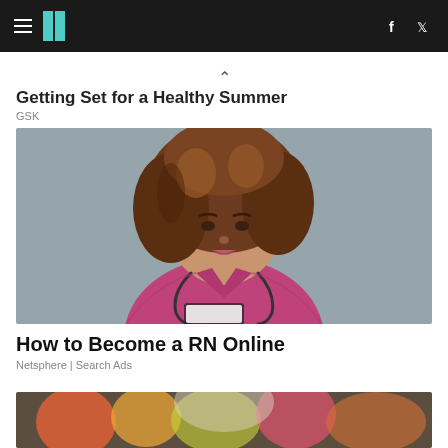HuffPost navigation bar with hamburger menu, logo, Facebook and Twitter icons
^
Getting Set for a Healthy Summer
GSK
[Figure (photo): A young woman with curly auburn hair wearing pink/magenta scrubs and a stethoscope, holding a clipboard, posed against a gray wall. She appears to be a nurse or medical professional.]
How to Become a RN Online
Netsphere | Search Ads
[Figure (photo): Partially visible image, appears to be a colorful scene, only the top portion visible.]